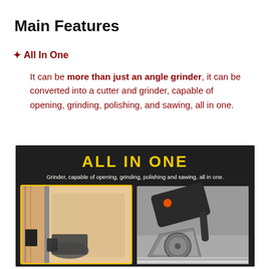Main Features
✦ All In One
It can be more than just an angle grinder, it can be converted into a cutter and grinder, capable of opening, grinding, polishing, and sawing, all in one.
[Figure (photo): Product image on dark background showing 'ALL IN ONE' in yellow bold text, subtitle 'Grinder, capable of opening, grinding, polishing and sawing, all in one.' in white. Two photos side by side: left shows a grinder tool being used on wooden door frame, right shows a grinder/sander tool being used on a surface.]